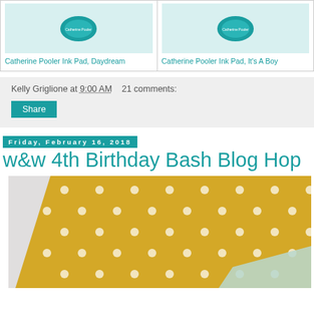[Figure (photo): Two Catherine Pooler Ink Pad product images side by side - teal circular ink pads]
Catherine Pooler Ink Pad, Daydream
Catherine Pooler Ink Pad, It's A Boy
Kelly Griglione at 9:00 AM   21 comments:
Share
Friday, February 16, 2018
w&w 4th Birthday Bash Blog Hop
[Figure (photo): Yellow/gold polka dot card or paper on a light background, partially visible]